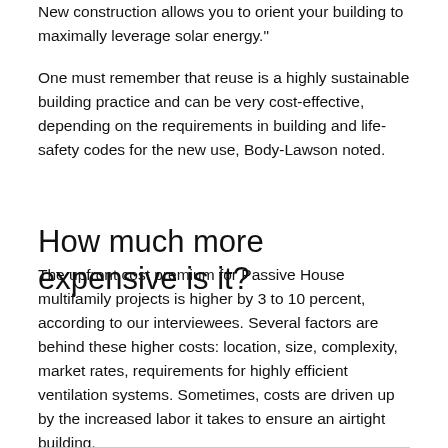New construction allows you to orient your building to maximally leverage solar energy."
One must remember that reuse is a highly sustainable building practice and can be very cost-effective, depending on the requirements in building and life-safety codes for the new use, Body-Lawson noted.
How much more expensive is it?
The upfront cost premium for Passive House multifamily projects is higher by 3 to 10 percent, according to our interviewees. Several factors are behind these higher costs: location, size, complexity, market rates, requirements for highly efficient ventilation systems. Sometimes, costs are driven up by the increased labor it takes to ensure an airtight building.